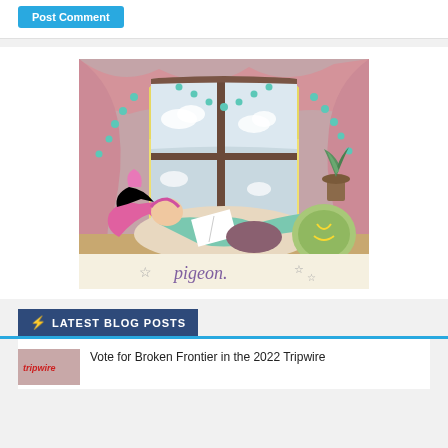Post Comment
[Figure (illustration): Illustration of a girl with pink hair lying on cushions reading a book by a round arched window with pink curtains and teal hanging ornaments. Below the illustration is a cursive text 'pigeon.' with star decorations on a cream background.]
LATEST BLOG POSTS
Vote for Broken Frontier in the 2022 Tripwire